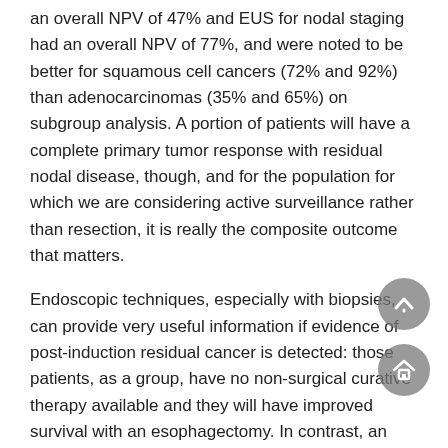an overall NPV of 47% and EUS for nodal staging had an overall NPV of 77%, and were noted to be better for squamous cell cancers (72% and 92%) than adenocarcinomas (35% and 65%) on subgroup analysis. A portion of patients will have a complete primary tumor response with residual nodal disease, though, and for the population for which we are considering active surveillance rather than resection, it is really the composite outcome that matters.
Endoscopic techniques, especially with biopsies, can provide very useful information if evidence of post-induction residual cancer is detected: those patients, as a group, have no non-surgical curative therapy available and they will have improved survival with an esophagectomy. In contrast, an inability to demonstrate residual cancer with endoscopic modalities alone does not yet offer justification to avoid an operation for a typical-risk patient.
PET and PET/CT
PET as a restaging modality has an advantage in that it reflects